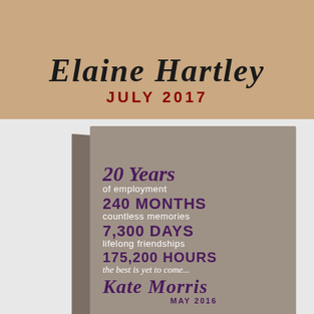[Figure (illustration): Top banner with tan/beige background showing a cursive script name 'Elaine Hartley' in black italic and 'JULY 2017' in dark red bold capitals below it]
[Figure (photo): 3D canvas block print on gray-beige background showing a 20 Years of employment anniversary gift design with text: '20 Years of employment, 240 MONTHS, countless memories, 7,300 DAYS, lifelong friendships, 175,200 HOURS, the best is yet to come..., Kate Morris, MAY 2016' in purple and white on a gray canvas]